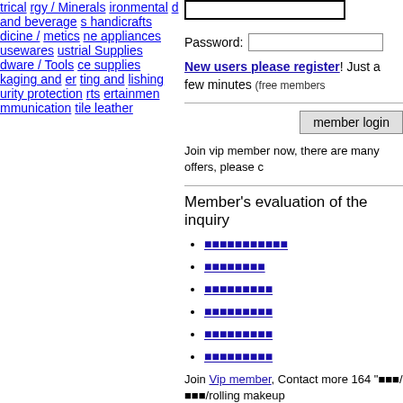trical
rgy / Minerals
ironmental
d and beverage
s handicrafts
dicine /
metics
ne appliances
usewares
ustrial Supplies
dware / Tools
ce supplies
kaging and
er
ting and
lishing
urity protection
rts
ertainmen
mmunication
tile leather
Password: [input field]
New users please register! Just a few minutes (free members
member login
Join vip member now, there are many offers, please c
Member's evaluation of the inquiry
■■■■■■■■■■■
■■■■■■■■
■■■■■■■■■
■■■■■■■■■
■■■■■■■■■
■■■■■■■■■
Join Vip member, Contact more 164 "■■■/■■■/rolling makeup